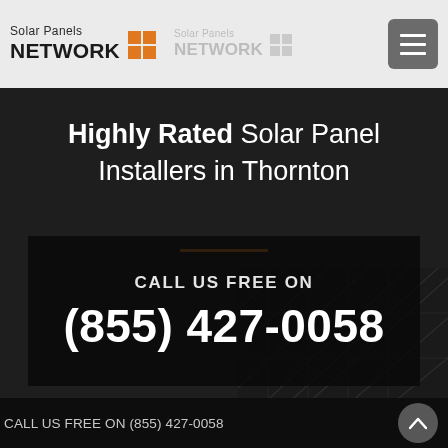Solar Panels NETWORK [logo] Solar Panels NETWORK [logo faded] [hamburger menu]
Highly Rated Solar Panel Installers in Thornton
CALL US FREE ON
(855) 427-0058
CALL US FREE ON (855) 427-0058